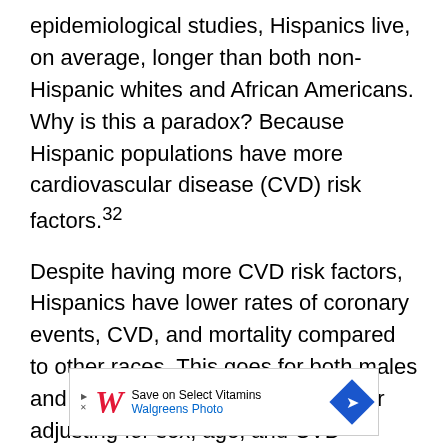epidemiological studies, Hispanics live, on average, longer than both non-Hispanic whites and African Americans. Why is this a paradox? Because Hispanic populations have more cardiovascular disease (CVD) risk factors.32
Despite having more CVD risk factors, Hispanics have lower rates of coronary events, CVD, and mortality compared to other races. This goes for both males and females, and even persists after adjusting for sex, age, and CVD comorbidities.33
[Figure (other): Walgreens advertisement banner: Save on Select Vitamins, Walgreens Photo, with Walgreens logo and navigation arrow icon]